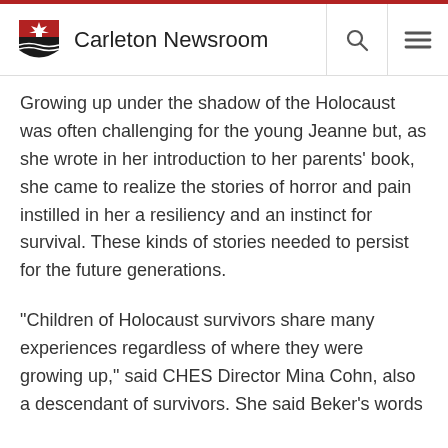Carleton Newsroom
Growing up under the shadow of the Holocaust was often challenging for the young Jeanne but, as she wrote in her introduction to her parents’ book, she came to realize the stories of horror and pain instilled in her a resiliency and an instinct for survival. These kinds of stories needed to persist for the future generations.
“Children of Holocaust survivors share many experiences regardless of where they were growing up,” said CHES Director Mina Cohn, also a descendant of survivors. She said Beker’s words